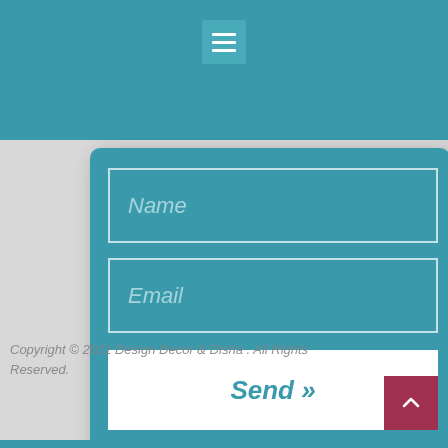[Figure (screenshot): Contact form with Name field, Email field, and Send button on a teal card background, with hamburger menu at top]
Copyright © 2021 Design Decor & Disha . All Rights Reserved.